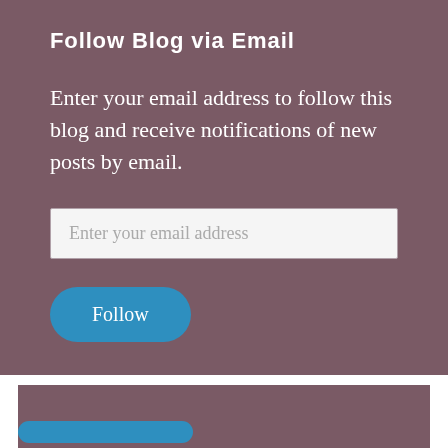Follow Blog via Email
Enter your email address to follow this blog and receive notifications of new posts by email.
[Figure (screenshot): Email input field with placeholder text 'Enter your email address' and a blue rounded 'Follow' button below it.]